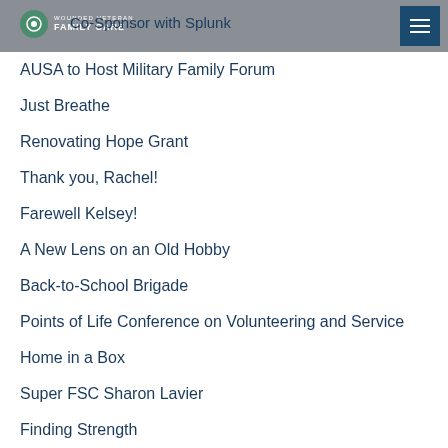Wounded Veteran Family Care
Co-Sponsor with Splunk
AUSA to Host Military Family Forum
Just Breathe
Renovating Hope Grant
Thank you, Rachel!
Farewell Kelsey!
A New Lens on an Old Hobby
Back-to-School Brigade
Points of Life Conference on Volunteering and Service
Home in a Box
Super FSC Sharon Lavier
Finding Strength